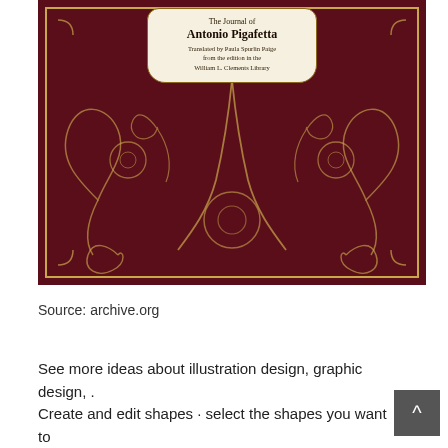[Figure (photo): Photo of an ornate book cover with dark maroon/burgundy background decorated with gold arabesque floral patterns. A cream-colored label plaque at the top reads: 'The Journal of Antonio Pigafetta. Translated by Paula Spurlin Paige from the edition in the William L. Clements Library.']
Source: archive.org
See more ideas about illustration design, graphic design, . Create and edit shapes · select the shapes you want to combine with the selection tool in the tools panel.